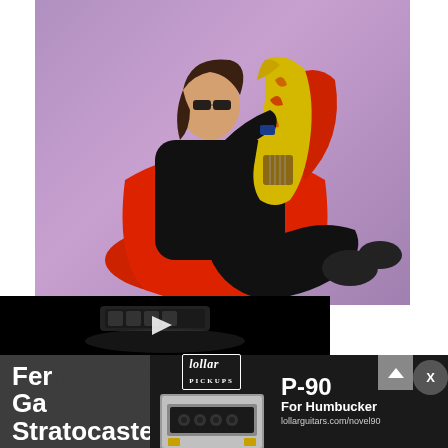[Figure (photo): A rock musician in black clothing and sunglasses reclines in a red chair, holding a yellow and black flame-decorated guitar, against a purple background]
[Figure (screenshot): Video player with black background showing a guitar pickup part and a white play button triangle in the center]
[Figure (photo): Advertisement banner for Lollar Pickups featuring a P-90 for Humbucker pickup image with text 'P-90 For Humbucker lollarguitars.com/novel90']
Fernando Rees... Stratocaster